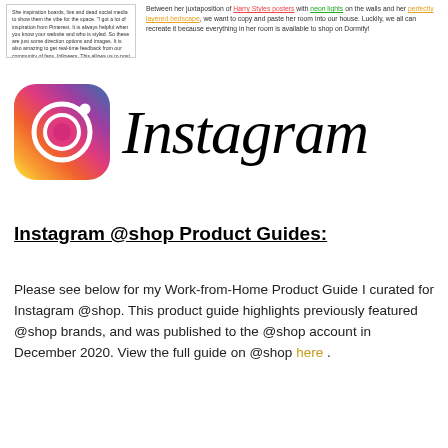She inspiration boards, live and dead social media to show them the vibe for the space. "I got a lot of inspiration from Pinterest. It is always helpful when you know your website and who is styled. So these are just some direction options and images. It is also amazing to get real-time feedback from our community of fans, followers. This allows us to post directly to review who brands well represented and who stands. It is awesome!"
Between her juxtaposition of Harry Styles posters with neon lights on the walls and her perfectly layered bedscape, we want to copy and paste her room into our house. Luckily, we all can recreate it because everything in her room is available to shop on Dormify!
[Figure (logo): Instagram logo with colorful camera icon and Instagram wordmark in italic script]
Instagram @shop Product Guides:
Please see below for my Work-from-Home Product Guide I curated for Instagram @shop. This product guide highlights previously featured @shop brands, and was published to the @shop account in December 2020. View the full guide on @shop here .